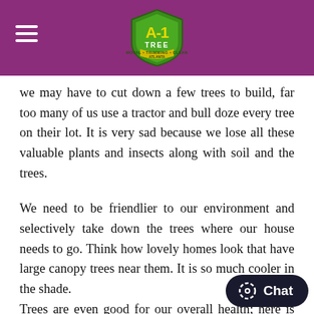[Figure (logo): A-1 Tree service logo — green shield with yellow A-1 text and 'TREE' below, on purple header bar with hamburger menu icon on left]
we may have to cut down a few trees to build, far too many of us use a tractor and bull doze every tree on their lot. It is very sad because we lose all these valuable plants and insects along with soil and the trees.
We need to be friendlier to our environment and selectively take down the trees where our house needs to go. Think how lovely homes look that have large canopy trees near them. It is so much cooler in the shade.
Trees are even good for our overall health; here is what Dr. Roger S. Ulrich from Texas A & M University has to say, “In laboratory research, visual exposure to settings with trees has produced significant recovery from stre… minutes, as indicated by changes in blood pressure and